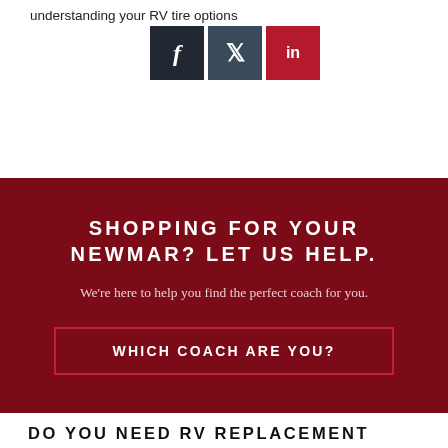understanding your RV tire options
[Figure (other): Social media share icons: Facebook (dark), Twitter (dark), LinkedIn (red)]
SHOPPING FOR YOUR NEWMAR? LET US HELP.
We're here to help you find the perfect coach for you.
WHICH COACH ARE YOU?
DO YOU NEED RV REPLACEMENT TIRES?
A lot of things affect the quality of your coach's tires. Always